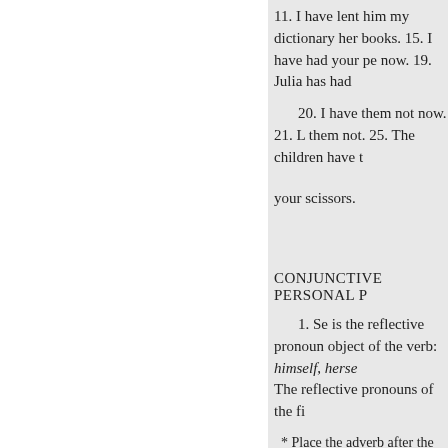11. I have lent him my dictionary her books. 15. I have had your pe now. 19. Julia has had
20. I have them not now. 21. L them not. 25. The children have t
your scissors.
CONJUNCTIVE PERSONAL P
1. Se is the reflective pronoun object of the verb: himself, herse The reflective pronouns of the fi
* Place the adverb after the ve
+ Reflective pronouns are so c myself. They are a subdivision o are, in form, the same as the obje
Nous, ourselves, to ourselves.
Vous, to yourself, to yourselv